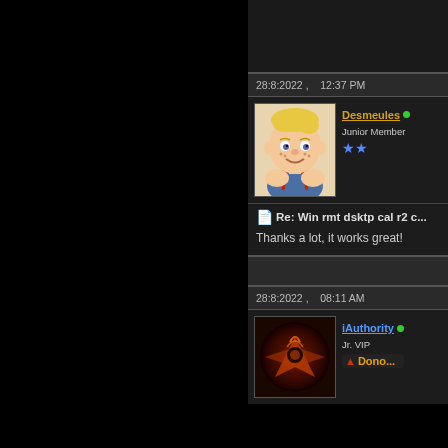28:8:2022 ,   12:37 PM
[Figure (photo): Avatar of user Desmeules: cartoon blond boy (Dennis the Menace style) with arms crossed, wearing blue shirt with red suspenders]
Desmeules • Junior Member ★★
Re: Win rmt dsktp cal r2 c...
Thanks a lot, it works great!
28:8:2022 ,   08:11 AM
[Figure (photo): Avatar of user iAuthority: dark abstract fiery/mechanical image]
iAuthority • Jr. VIP Donor